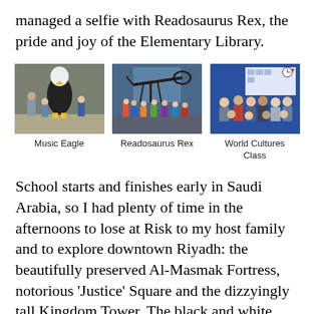managed a selfie with Readosaurus Rex, the pride and joy of the Elementary Library.
[Figure (photo): Three photos side by side: left shows children with a bald eagle mascot costume (Music Eagle), center shows children in front of a dinosaur skeleton (Readosaurus Rex), right shows a group of students in a classroom with blue background (World Cultures Class).]
Music Eagle
Readosaurus Rex
World Cultures Class
School starts and finishes early in Saudi Arabia, so I had plenty of time in the afternoons to lose at Risk to my host family and to explore downtown Riyadh: the beautifully preserved Al-Masmak Fortress, notorious ‘Justice’ Square and the dizzyingly tall Kingdom Tower. The black and white photograph below is from 1951 and shows a street of barbers